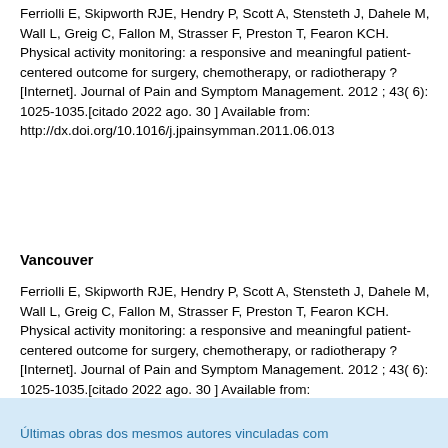Ferriolli E, Skipworth RJE, Hendry P, Scott A, Stensteth J, Dahele M, Wall L, Greig C, Fallon M, Strasser F, Preston T, Fearon KCH. Physical activity monitoring: a responsive and meaningful patient-centered outcome for surgery, chemotherapy, or radiotherapy ? [Internet]. Journal of Pain and Symptom Management. 2012 ; 43( 6): 1025-1035.[citado 2022 ago. 30 ] Available from: http://dx.doi.org/10.1016/j.jpainsymman.2011.06.013
Vancouver
Ferriolli E, Skipworth RJE, Hendry P, Scott A, Stensteth J, Dahele M, Wall L, Greig C, Fallon M, Strasser F, Preston T, Fearon KCH. Physical activity monitoring: a responsive and meaningful patient-centered outcome for surgery, chemotherapy, or radiotherapy ? [Internet]. Journal of Pain and Symptom Management. 2012 ; 43( 6): 1025-1035.[citado 2022 ago. 30 ] Available from: http://dx.doi.org/10.1016/j.jpainsymman.2011.06.013
Últimas obras dos mesmos autores vinculadas com